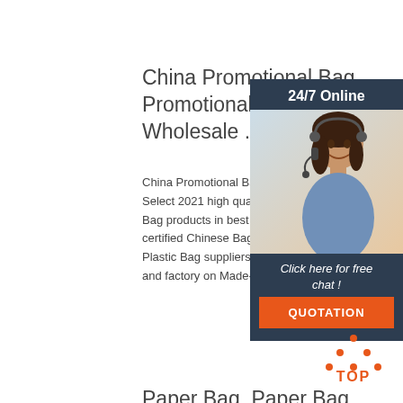China Promotional Bag, Promotional Bag Wholesale ...
China Promotional Bag whole... Select 2021 high quality Prom... Bag products in best price fro... certified Chinese Bag manufa... Plastic Bag suppliers, wholes... and factory on Made-in ...
[Figure (infographic): 24/7 Online customer service ad with woman wearing headset, dark blue background, 'Click here for free chat!' text, orange QUOTATION button]
Get Price
[Figure (other): TOP back-to-top icon with orange dots forming upward triangle above orange TOP text]
Paper Bag, Paper Bag ...